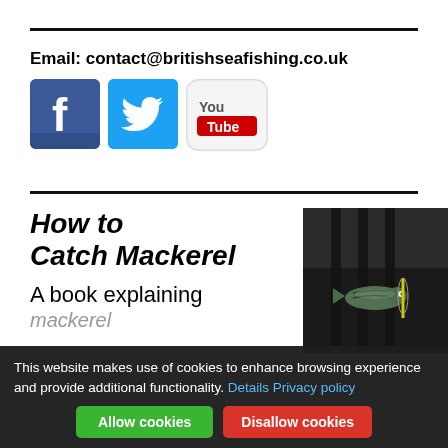Email: contact@britishseafishing.co.uk
[Figure (logo): Facebook, Twitter, and YouTube social media icons]
How to Catch Mackerel
A book explaining
[Figure (photo): Photo of a mackerel fish held up in front of a dark background]
This website makes use of cookies to enhance browsing experience and provide additional functionality. Details Privacy policy
Allow cookies  Disallow cookies